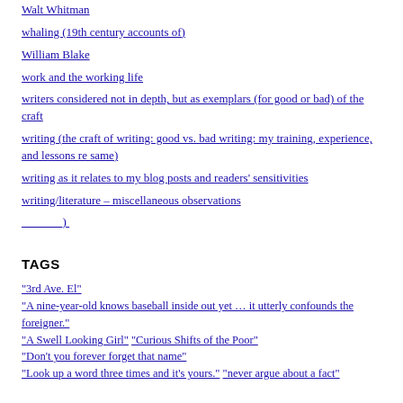Walt Whitman
whaling (19th century accounts of)
William Blake
work and the working life
writers considered not in depth, but as exemplars (for good or bad) of the craft
writing (the craft of writing: good vs. bad writing: my training, experience, and lessons re same)
writing as it relates to my blog posts and readers' sensitivities
writing/literature – miscellaneous observations
_______)
TAGS
"3rd Ave. El" "A nine-year-old knows baseball inside out yet … it utterly confounds the foreigner." "A Swell Looking Girl" "Curious Shifts of the Poor" "Don't you forever forget that name" "Look up a word three times and it's yours." "never argue about a fact"